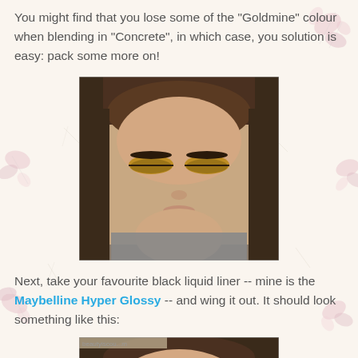You might find that you lose some of the "Goldmine" colour when blending in "Concrete", in which case, you solution is easy: pack some more on!
[Figure (photo): Close-up photo of a young woman with eyes closed showing gold/bronze eyeshadow makeup, dark hair pulled back, wearing a grey patterned top]
Next, take your favourite black liquid liner -- mine is the Maybelline Hyper Glossy -- and wing it out. It should look something like this:
[Figure (photo): Partial photo of a young woman's face showing winged eyeliner makeup, cropped at bottom of page]